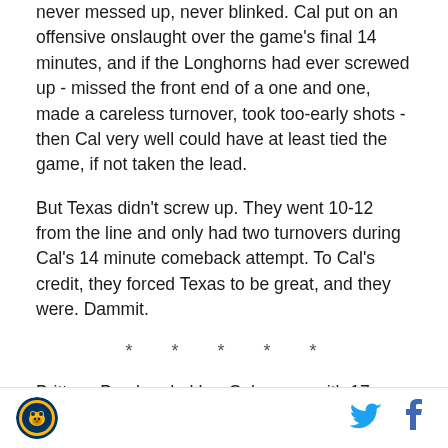never messed up, never blinked. Cal put on an offensive onslaught over the game's final 14 minutes, and if the Longhorns had ever screwed up - missed the front end of a one and one, made a careless turnover, took too-early shots - then Cal very well could have at least tied the game, if not taken the lead.
But Texas didn't screw up. They went 10-12 from the line and only had two turnovers during Cal's 14 minute comeback attempt. To Cal's credit, they forced Texas to be great, and they were. Dammit.
* * * * *
Brittany Boyd ended her Cal career with 17 points on 8
[Figure (logo): Cal Bears circular logo with bear mascot]
[Figure (logo): Twitter bird icon in blue]
[Figure (logo): Facebook f icon in blue]